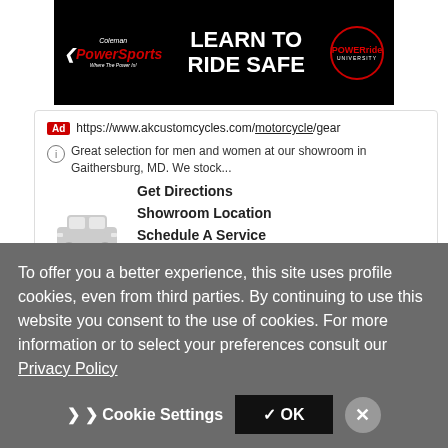[Figure (screenshot): Coleman PowerSports banner ad with 'LEARN TO RIDE SAFE' text and PowerRide University logo on black background]
Ad https://www.akcustomcycles.com/motorcycle/gear
Great selection for men and women at our showroom in Gaithersburg, MD. We stock...
Get Directions
Showroom Location
Schedule A Service
Shop Gear
▶ Visit Website
Used Honda For Sale - Browse Used
To offer you a better experience, this site uses profile cookies, even from third parties. By continuing to use this website you consent to the use of cookies. For more information or to select your preferences consult our Privacy Policy